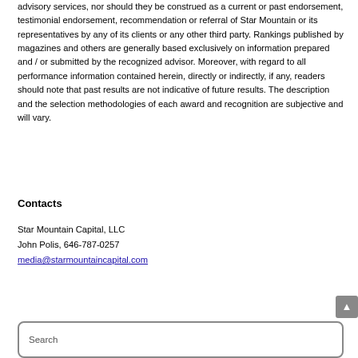advisory services, nor should they be construed as a current or past endorsement, testimonial endorsement, recommendation or referral of Star Mountain or its representatives by any of its clients or any other third party. Rankings published by magazines and others are generally based exclusively on information prepared and / or submitted by the recognized advisor. Moreover, with regard to all performance information contained herein, directly or indirectly, if any, readers should note that past results are not indicative of future results. The description and the selection methodologies of each award and recognition are subjective and will vary.
Contacts
Star Mountain Capital, LLC
John Polis, 646-787-0257
media@starmountaincapital.com